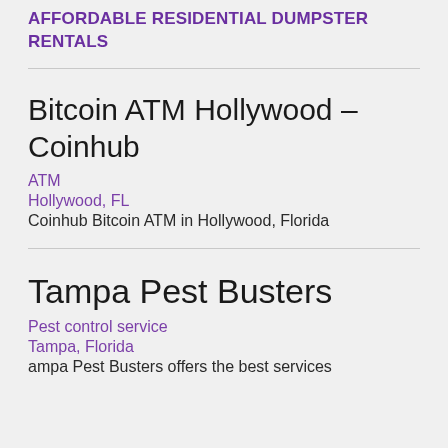AFFORDABLE RESIDENTIAL DUMPSTER RENTALS
Bitcoin ATM Hollywood – Coinhub
ATM
Hollywood, FL
Coinhub Bitcoin ATM in Hollywood, Florida
Tampa Pest Busters
Pest control service
Tampa, Florida
ampa Pest Busters offers the best services